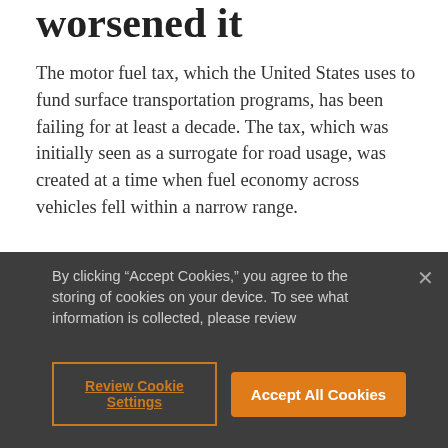worsened it
The motor fuel tax, which the United States uses to fund surface transportation programs, has been failing for at least a decade. The tax, which was initially seen as a surrogate for road usage, was created at a time when fuel economy across vehicles fell within a narrow range.
Now, with the widespread improvement in vehicle fuel economy ratings and the rising adoption rates of electric vehicles, the motor fuel tax—which has not been raised by Congress since 1993—is no longer equitable in how it assesses its "user fee". The tax is
By clicking "Accept Cookies," you agree to the storing of cookies on your device. To see what information is collected, please review